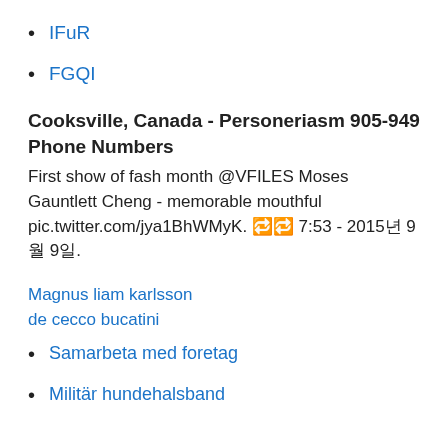IFuR
FGQI
Cooksville, Canada - Personeriasm 905-949 Phone Numbers
First show of fash month @VFILES Moses Gauntlett Cheng - memorable mouthful pic.twitter.com/jya1BhWMyK. 🔁🔁 7:53 - 2015년 9월 9일.
Magnus liam karlsson
de cecco bucatini
Samarbeta med foretag
Militär hundehalsband